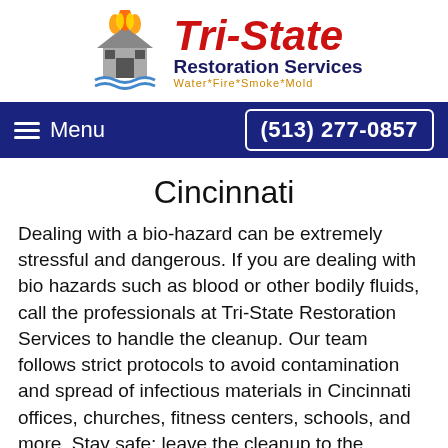[Figure (logo): Tri-State Restoration Services logo with house on fire and flood waters, with tagline Water*Fire*Smoke*Mold]
Menu   (513) 277-0857
Cincinnati
Dealing with a bio-hazard can be extremely stressful and dangerous. If you are dealing with bio hazards such as blood or other bodily fluids, call the professionals at Tri-State Restoration Services to handle the cleanup. Our team follows strict protocols to avoid contamination and spread of infectious materials in Cincinnati offices, churches, fitness centers, schools, and more. Stay safe; leave the cleanup to the experts.
Tri-State Restoration Services provides high-quality services at reasonable prices. We make sure to handle the